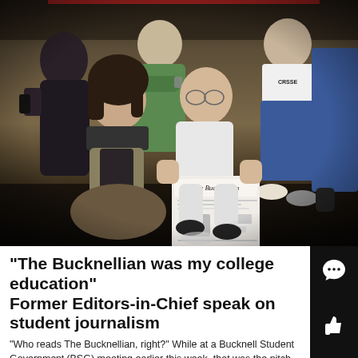[Figure (photo): Group photo of several people in what appears to be a newsroom or office setting. A man in the center is kneeling and holding up a copy of 'The Bucknellian' newspaper. A woman with dark hair is seated to his left, smiling. Several other people stand in the background. The photo appears to be from the late 1980s or early 1990s.]
“The Bucknellian was my college education” Former Editors-in-Chief speak on student journalism
“Who reads The Bucknellian, right?” While at a Bucknell Student Government (BSG) meeting earlier this week, that was the pitch that I made for people t…